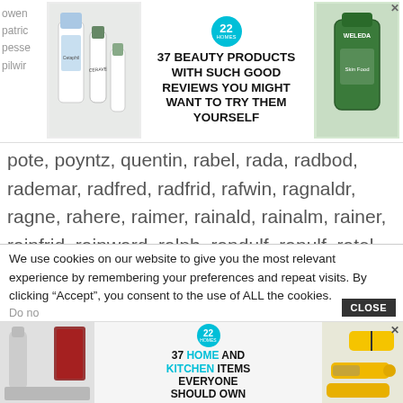[Figure (infographic): Advertisement banner: 37 Beauty Products With Such Good Reviews You Might Want To Try Them Yourself, with Cetaphil and Weleda product images and a 22 Homes badge]
pote, poyntz, quentin, rabel, rada, radbod, rademar, radfred, radfrid, rafwin, ragnaldr, ragne, rahere, raimer, rainald, rainalm, rainer, rainfrid, rainward, ralph, randulf, ranulf, ratel, rathi, ravelin, raven, ravengar, ravenkel, ravenot, ravensward, raymond, raynouard, redger, redhe.
We use cookies on our website to give you the most relevant experience by remembering your preferences and repeat visits. By clicking “Accept”, you consent to the use of ALL the cookies.
Do no
[Figure (infographic): Advertisement banner: 37 Home and Kitchen Items Everyone Should Own, with kitchen product images and a 22 Homes badge]